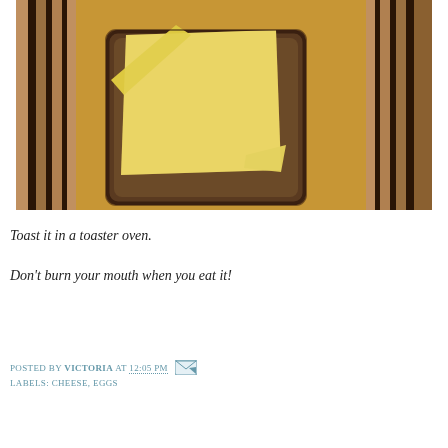[Figure (photo): A slice of whole wheat bread topped with slices of yellow cheese, placed on a wooden cutting board with alternating dark and light wood stripes.]
Toast it in a toaster oven.
Don't burn your mouth when you eat it!
POSTED BY VICTORIA AT 12:05 PM
LABELS: CHEESE, EGGS